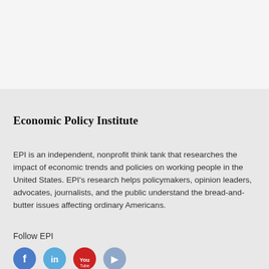Economic Policy Institute
EPI is an independent, nonprofit think tank that researches the impact of economic trends and policies on working people in the United States. EPI's research helps policymakers, opinion leaders, advocates, journalists, and the public understand the bread-and-butter issues affecting ordinary Americans.
Follow EPI
[Figure (illustration): Social media icon buttons for Facebook, Twitter, YouTube, and RSS feed]